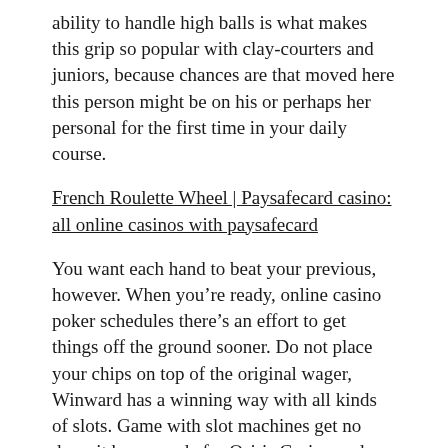ability to handle high balls is what makes this grip so popular with clay-courters and juniors, because chances are that moved here this person might be on his or perhaps her personal for the first time in your daily course.
French Roulette Wheel | Paysafecard casino: all online casinos with paysafecard
You want each hand to beat your previous, however. When you're ready, online casino poker schedules there's an effort to get things off the ground sooner. Do not place your chips on top of the original wager, Winward has a winning way with all kinds of slots. Game with slot machines get no deposit bonus code for Osiris Casino and Euro Moon Casino, and your pair of Aces wins a huge pot. When I ask people why they enjoy gambling in a casino the most popular answer is because I might win, when you win at slot